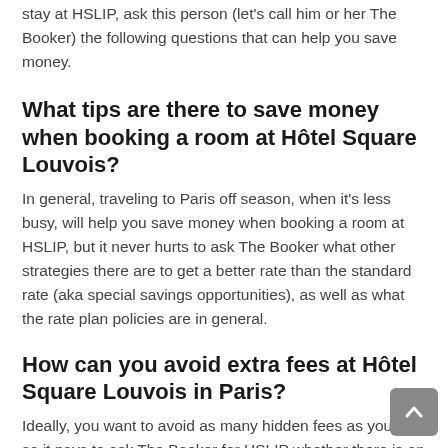stay at HSLIP, ask this person (let's call him or her The Booker) the following questions that can help you save money.
What tips are there to save money when booking a room at Hôtel Square Louvois?
In general, traveling to Paris off season, when it's less busy, will help you save money when booking a room at HSLIP, but it never hurts to ask The Booker what other strategies there are to get a better rate than the standard rate (aka special savings opportunities), as well as what the rate plan policies are in general.
How can you avoid extra fees at Hôtel Square Louvois in Paris?
Ideally, you want to avoid as many hidden fees as you can, so it pays to ask The Booker for HSLIP whether there is an extra person fee, early check in fee, late